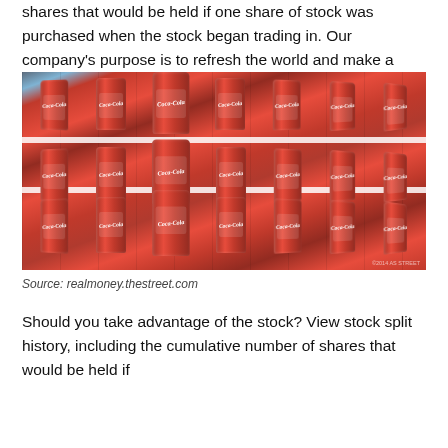shares that would be held if one share of stock was purchased when the stock began trading in. Our company's purpose is to refresh the world and make a difference.
[Figure (photo): Photo of Coca-Cola cans stacked on warehouse shelves, multiple rows and columns of red Coca-Cola branded cans.]
Source: realmoney.thestreet.com
Should you take advantage of the stock? View stock split history, including the cumulative number of shares that would be held if